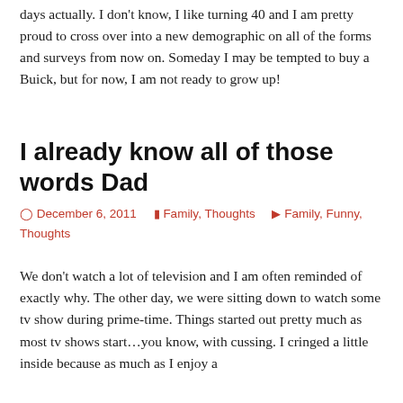days actually. I don't know, I like turning 40 and I am pretty proud to cross over into a new demographic on all of the forms and surveys from now on. Someday I may be tempted to buy a Buick, but for now, I am not ready to grow up!
I already know all of those words Dad
December 6, 2011   Family, Thoughts   Family, Funny, Thoughts
We don't watch a lot of television and I am often reminded of exactly why. The other day, we were sitting down to watch some tv show during prime-time. Things started out pretty much as most tv shows start…you know, with cussing. I cringed a little inside because as much as I enjoy a